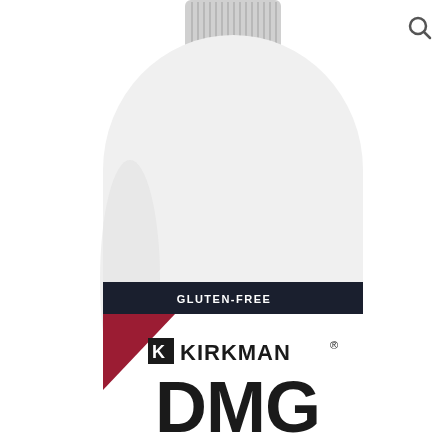[Figure (photo): A white plastic bottle with a ribbed gray cap. The bottle has a label showing a dark navy banner at the top reading 'GLUTEN-FREE' in white text, a dark red/crimson triangular accent in the lower left of the label, the Kirkman logo (bold black letters 'KIRKMAN' with a stylized K logo to the left and a registered trademark symbol), and large bold black text 'DMG' at the bottom of the visible label area. A small magnifying glass search icon appears in the upper right corner of the image.]